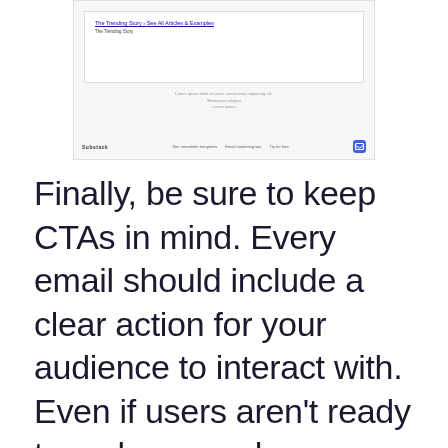[Figure (screenshot): Screenshot of a webpage showing a navigation bar with logo and links, and a content area with a heading link and subtitle text, plus a small circular icon on the right.]
Finally, be sure to keep CTAs in mind. Every email should include a clear action for your audience to interact with. Even if users aren't ready to make a purchase or subscribe to your service, peripheral CTAs can keep them